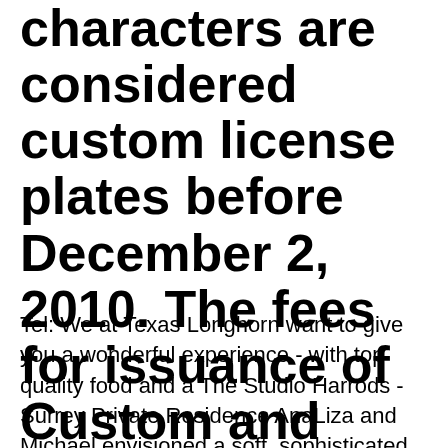characters are considered custom license plates before December 2, 2010. The fees for issuance of Custom and Generic license plates are ...
Tel: We at Texas Longhorn want to give you a wonderful experience - with top quality food and a The Studio Harrods - Surrey Private Residence AnaLiza and Michael envisioned a soft, sophisticated Texas affair with touches of metallic